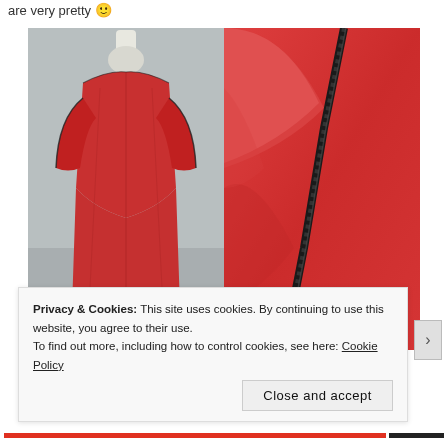are very pretty 😊
[Figure (photo): Two photos of a red dress: left shows full dress on mannequin with elbow-length sleeves; right shows close-up of dark piping/zipper detail on red fabric.]
Privacy & Cookies: This site uses cookies. By continuing to use this website, you agree to their use.
To find out more, including how to control cookies, see here: Cookie Policy
Close and accept